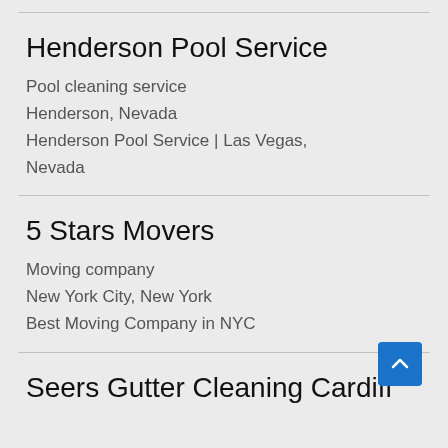Henderson Pool Service
Pool cleaning service
Henderson, Nevada
Henderson Pool Service | Las Vegas, Nevada
5 Stars Movers
Moving company
New York City, New York
Best Moving Company in NYC
Seers Gutter Cleaning Cardiff